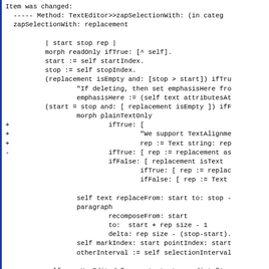Item was changed:
  ----- Method: TextEditor>>zapSelectionWith: (in categ
  zapSelectionWith: replacement

          | start stop rep |
          morph readOnly ifTrue: [^ self].
          start := self startIndex.
          stop := self stopIndex.
          (replacement isEmpty and: [stop > start]) ifTru
                  "If deleting, then set emphasisHere fro
                  emphasisHere := (self text attributesAt
          (start = stop and: [ replacement isEmpty ]) ifF
                  morph plainTextOnly
+                         ifTrue: [
+                                 "We support TextAlignme
+                                 rep := Text string: rep
-                         ifTrue: [ rep := replacement as
                          ifFalse: [ replacement isText
                                  ifTrue: [ rep := replac
                                  ifFalse: [ rep := Text

                  self text replaceFrom: start to: stop -
                  paragraph
                          recomposeFrom: start
                          to:  start + rep size - 1
                          delta: rep size - (stop-start).
                  self markIndex: start pointIndex: start
                  otherInterval := self selectionInterval

          self userHasEdited " -- note text now dirty"!